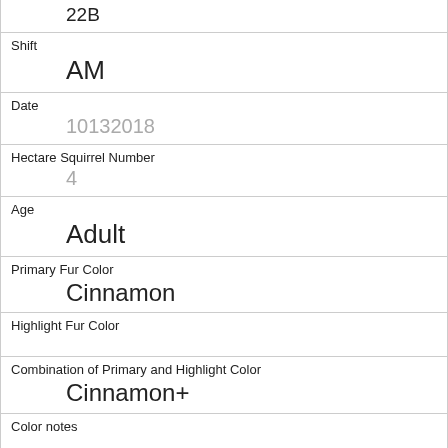22B
Shift
AM
Date
10132018
Hectare Squirrel Number
4
Age
Adult
Primary Fur Color
Cinnamon
Highlight Fur Color
Combination of Primary and Highlight Color
Cinnamon+
Color notes
Location
Ground Plane
Above Ground Sighter Measurement
FALSE